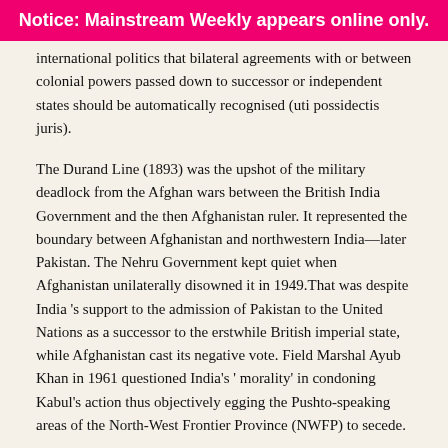Notice: Mainstream Weekly appears online only.
international politics that bilateral agreements with or between colonial powers passed down to successor or independent states should be automatically recognised (uti possidectis juris).
The Durand Line (1893) was the upshot of the military deadlock from the Afghan wars between the British India Government and the then Afghanistan ruler. It represented the boundary between Afghanistan and northwestern India—later Pakistan. The Nehru Government kept quiet when Afghanistan unilaterally disowned it in 1949.That was despite India 's support to the admission of Pakistan to the United Nations as a successor to the erstwhile British imperial state, while Afghanistan cast its negative vote. Field Marshal Ayub Khan in 1961 questioned India's ' morality' in condoning Kabul's action thus objectively egging the Pushto-speaking areas of the North-West Frontier Province (NWFP) to secede.